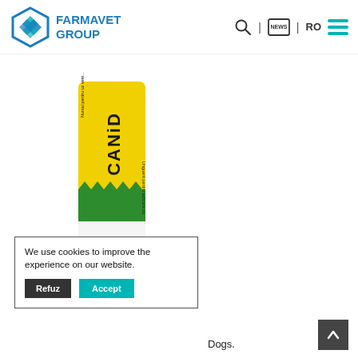FARMAVET GROUP | RO
[Figure (photo): A tube of CANID veterinary ointment product with yellow and green label, rotated vertically. Text on label reads 'Numai pentru uz veterinar', 'CANID', and 'Unguent pentru aplicare cutanata']
We use cookies to improve the experience on our website.
Dogs.